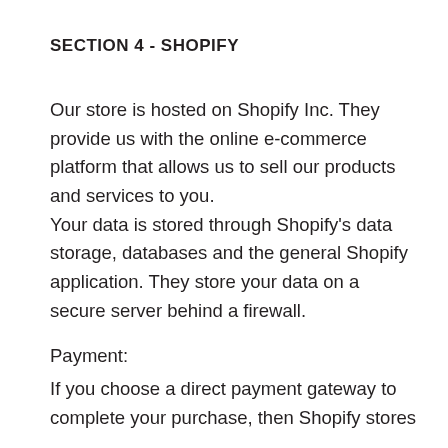SECTION 4 - SHOPIFY
Our store is hosted on Shopify Inc. They provide us with the online e-commerce platform that allows us to sell our products and services to you.
Your data is stored through Shopify's data storage, databases and the general Shopify application. They store your data on a secure server behind a firewall.
Payment:
If you choose a direct payment gateway to complete your purchase, then Shopify stores your credit card data with…